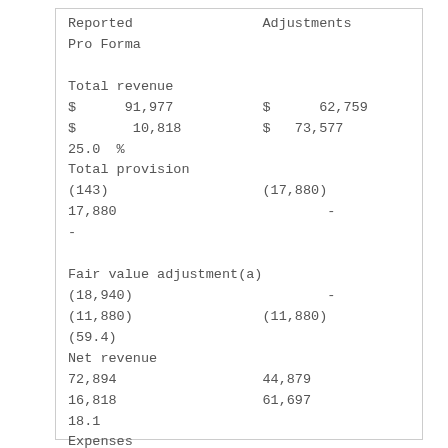| Reported | Adjustments | Pro Forma |
| --- | --- | --- |
| Total revenue |  |  |
| $      91,977 | $      62,759 |  |
| $       10,818 | $   73,577 |  |
| 25.0  % |  |  |
| Total provision |  |  |
| (143) | (17,880) |  |
| 17,880 | - |  |
| - |  |  |
| Fair value adjustment(a) |  |  |
| (18,940) | - |  |
| (11,880) | (11,880) |  |
| (59.4) |  |  |
| Net revenue |  |  |
| 72,894 | 44,879 |  |
| 16,818 | 61,697 |  |
| 18.1 |  |  |
| Expenses |  |  |
| Sales and marketing |  |  |